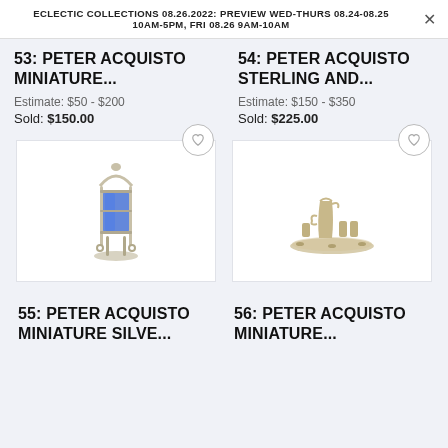ECLECTIC COLLECTIONS 08.26.2022: PREVIEW WED-THURS 08.24-08.25 10AM-5PM, FRI 08.26 9AM-10AM
53: PETER ACQUISTO MINIATURE...
Estimate: $50 - $200
Sold: $150.00
54: PETER ACQUISTO STERLING AND...
Estimate: $150 - $350
Sold: $225.00
[Figure (photo): Miniature silver candelabra with blue glass insert on ornate stand]
[Figure (photo): Miniature sterling silver cruet/condiment set on tray with pitcher and small cups]
55: PETER ACQUISTO MINIATURE SILVE...
56: PETER ACQUISTO MINIATURE...